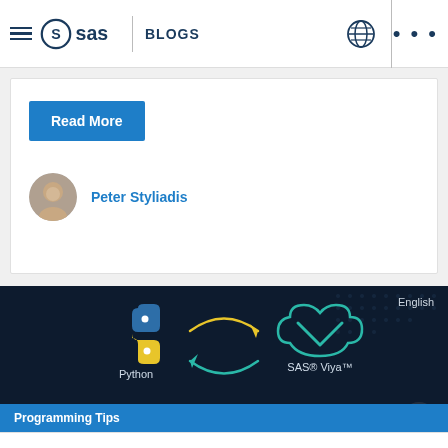SAS Blogs
Read More
Peter Styliadis
[Figure (illustration): Dark navy background banner showing Python logo (blue and yellow snake) on the left and SAS Viya cloud logo (teal cloud with V) on the right, with circular yellow/teal arrows between them indicating integration. Text labels 'Python' and 'SAS® Viya™' below icons. 'English' label top right corner.]
Programming Tips